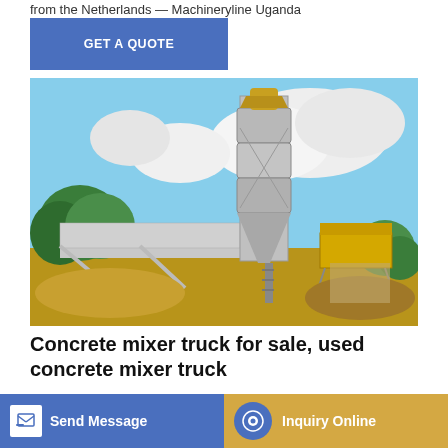from the Netherlands — Machineryline Uganda
GET A QUOTE
[Figure (photo): Industrial concrete batching plant with large cylindrical silo tower, conveyor belts, and yellow machinery platform, set on sandy ground with trees and cloudy sky in background]
Concrete mixer truck for sale, used concrete mixer truck
concrete mixer trucks: 885 offers, ... and find ads for new mixer truck, concrete truck — Machineryline Ghana FOTON
Send Message
Inquiry Online